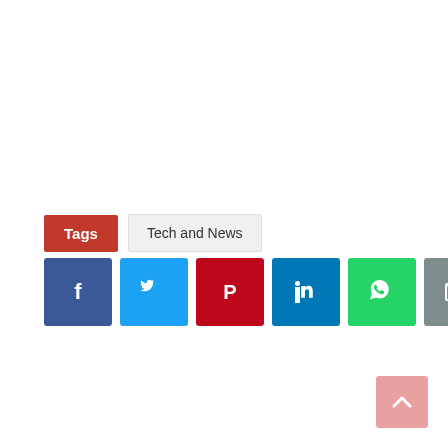Tags   Tech and News
[Figure (infographic): Row of social media share buttons: Facebook (blue), Twitter (light blue), Pinterest (red), LinkedIn (blue), WhatsApp (green), Email (gray)]
[Figure (infographic): Back to top button — pink/salmon rounded square with upward chevron arrow, bottom-right corner]